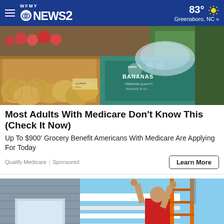WFMY NEWS 2 | 83° Greensboro, NC »
[Figure (photo): Grocery store produce section with melons, fruits, and a Bananas box in the foreground]
Most Adults With Medicare Don't Know This (Check It Now)
Up To $900' Grocery Benefit Americans With Medicare Are Applying For Today
Qualify Medicare | Sponsored
[Figure (photo): Person on a ladder doing home repair or installation work on the exterior of a house]